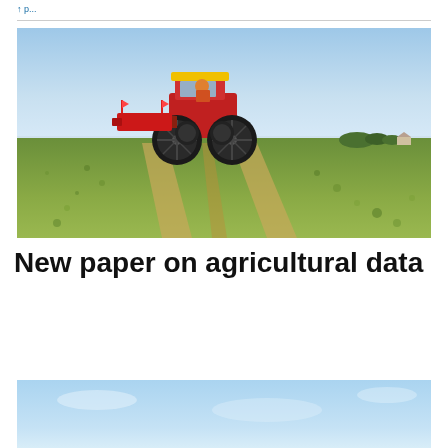[Figure (photo): A red tractor with yellow roof working in a green agricultural field, driving away from the viewer along crop rows under a clear blue sky. Trees and farm buildings visible on the far horizon.]
New paper on agricultural data
[Figure (photo): Partial view of a second photograph — light blue sky visible at top of frame, cropped at bottom of page.]